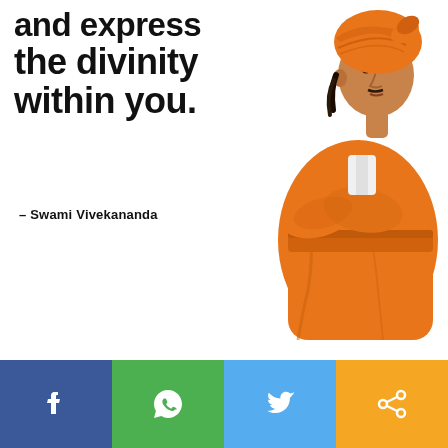[Figure (illustration): Swami Vivekananda in orange robes with arms crossed, wearing an orange turban, standing with a contemplative pose]
and express the divinity within you.
– Swami Vivekananda
[Figure (infographic): Social sharing bar with four buttons: Facebook (blue), WhatsApp (green), Twitter (blue), and a share/link icon (yellow/gold)]